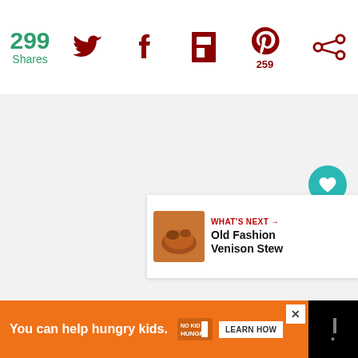299 Shares
[Figure (screenshot): Social share bar with Twitter, Facebook, Flipboard, Pinterest (259), and other share icons in dark red on white background]
[Figure (screenshot): Main content area with light gray background, floating teal heart button and white share button on right side]
WHAT'S NEXT → Old Fashion Venison Stew
You can help hungry kids. NO KID HUNGRY LEARN HOW